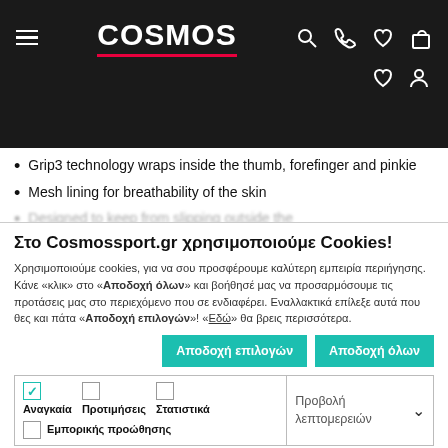COSMOS — navigation header with hamburger menu, search, phone, heart, bag icons
Grip3 technology wraps inside the thumb, forefinger and pinkie
Mesh lining for breathability of the skin
Στο Cosmossport.gr χρησιμοποιούμε Cookies!
Χρησιμοποιούμε cookies, για να σου προσφέρουμε καλύτερη εμπειρία περιήγησης. Κάνε «κλικ» στο «Αποδοχή όλων» και βοήθησέ μας να προσαρμόσουμε τις προτάσεις μας στο περιεχόμενο που σε ενδιαφέρει. Εναλλακτικά επίλεξε αυτά που θες και πάτα «Αποδοχή επιλογών»! «Εδώ» θα βρεις περισσότερα.
Αποδοχή επιλογών | Αποδοχή όλων
| Αναγκαία | Προτιμήσεις | Στατιστικά | Εμπορικής προώθησης | Προβολή λεπτομερειών |
| --- | --- | --- | --- | --- |
| checked | unchecked | unchecked | unchecked | Προβολή λεπτομερειών |